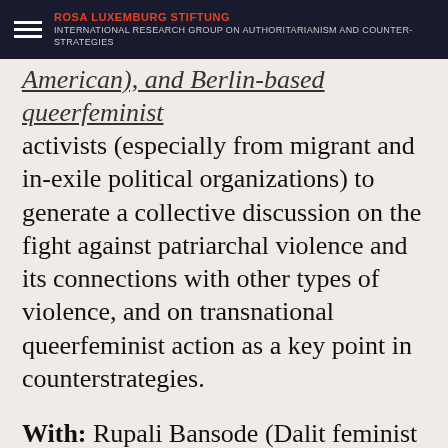ROSA LUXEMBURG STIFTUNG — INTERNATIONAL RESEARCH GROUP ON AUTHORITARIANISM AND COUNTER-STRATEGIES
American), and Berlin-based queerfeminist activists (especially from migrant and in-exile political organizations) to generate a collective discussion on the fight against patriarchal violence and its connections with other types of violence, and on transnational queerfeminist action as a key point in counterstrategies.
With: Rupali Bansode (Dalit feminist and Social Anthropologist, India), Javiera Manzi (Sociologist and Feminist Activist, Coordinadora Feminista 8M, Chile), Magdo Chuchracka (Queer Activist, Academic and Performer from Eastern Europe, Co- liberation Berlin, POPBACK Project, Goethe University, Frankfurt) // Moderation: Jana